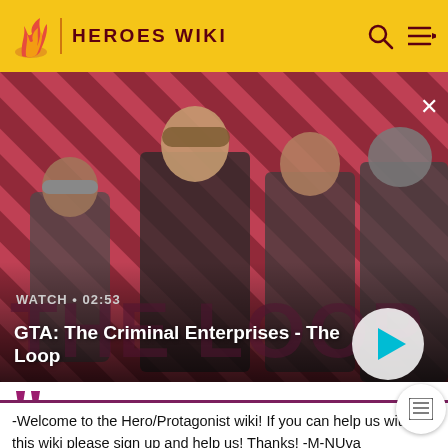HEROES WIKI
[Figure (screenshot): GTA: The Criminal Enterprises - The Loop video thumbnail with four characters on a red diagonal striped background. Shows WATCH • 02:53 label and a play button.]
GTA: The Criminal Enterprises - The Loop
-Welcome to the Hero/Protagonist wiki! If you can help us with this wiki please sign up and help us! Thanks! -M-NUva